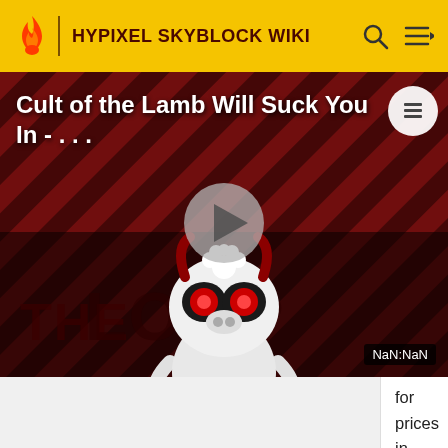HYPIXEL SKYBLOCK WIKI
[Figure (screenshot): Video thumbnail showing 'Cult of the Lamb Will Suck You In' with a cartoon cow/demon character on a red diagonal striped background with THE LOOP text and a play button. Timestamp shows NaN:NaN.]
for prices in the thousands. Examples include items like the Pestilence Rune and Bite Rune. Runes like the ones mentioned before can